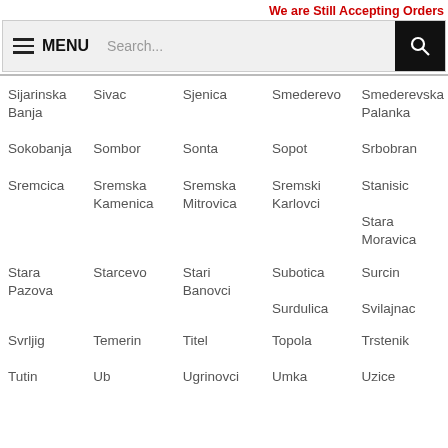We are Still Accepting Orders
[Figure (screenshot): Navigation bar with hamburger menu icon, MENU text, search box, and search button]
Sijarinska Banja
Sivac
Sjenica
Smederevo
Smederevska Palanka
Sokobanja
Sombor
Sonta
Sopot
Srbobran
Sremcica
Sremska Kamenica
Sremska Mitrovica
Sremski Karlovci
Stanisic
Stara Moravica
Stara Pazova
Starcevo
Stari Banovci
Subotica
Surcin
Surdulica
Svilajnac
Svrljig
Temerin
Titel
Topola
Trstenik
Tutin
Ub
Ugrinovci
Umka
Uzice